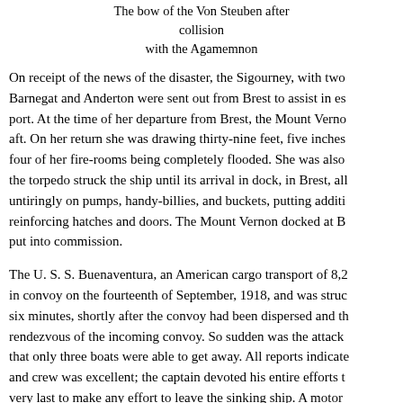The bow of the Von Steuben after collision with the Agamemnon
On receipt of the news of the disaster, the Sigourney, with two Barnegat and Anderton were sent out from Brest to assist in es port. At the time of her departure from Brest, the Mount Verno aft. On her return she was drawing thirty-nine feet, five inches four of her fire-rooms being completely flooded. She was also the torpedo struck the ship until its arrival in dock, in Brest, all untiringly on pumps, handy-billies, and buckets, putting additi reinforcing hatches and doors. The Mount Vernon docked at B put into commission.
The U. S. S. Buenaventura, an American cargo transport of 8,2 in convoy on the fourteenth of September, 1918, and was stru six minutes, shortly after the convoy had been dispersed and th rendezvous of the incoming convoy. So sudden was the attack that only three boats were able to get away. All reports indicate and crew was excellent; the captain devoted his entire efforts t very last to make any effort to leave the sinking ship. A motor succeeded in getting away were picked up by the French destre Brest, and a third boat, containing the commanding officer, the seven men reached Corunna, Spain, after a number of days at s
One of the last cargo carriers to meet destruction by a submari